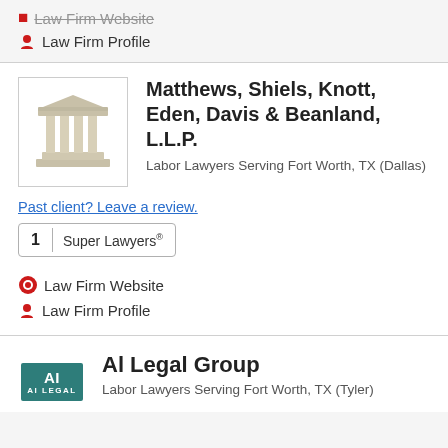Law Firm Website
Law Firm Profile
Matthews, Shiels, Knott, Eden, Davis & Beanland, L.L.P.
Labor Lawyers Serving Fort Worth, TX (Dallas)
Past client? Leave a review.
1  Super Lawyers*
Law Firm Website
Law Firm Profile
Al Legal Group
Labor Lawyers Serving Fort Worth, TX (Tyler)